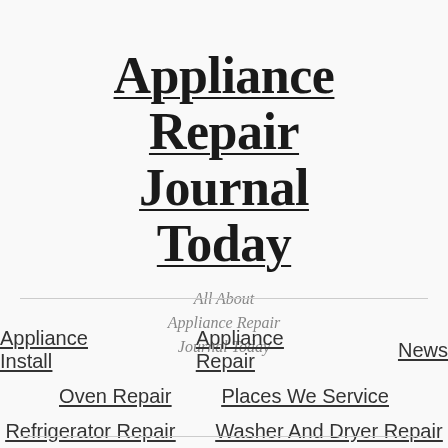Appliance Repair Journal Today
All About Appliance Repair Journal Today
Appliance Install
Appliance Repair
News
Oven Repair
Places We Service
Refrigerator Repair
Washer And Dryer Repair